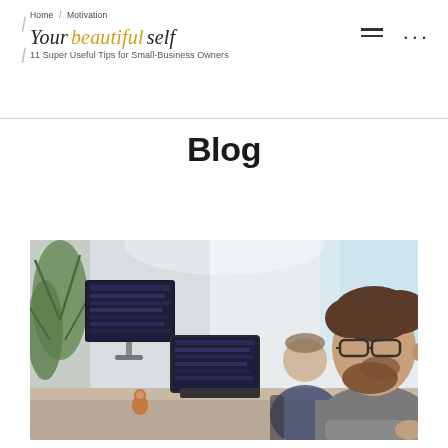Home / Motivation / Your beautiful self / 11 Super Useful Tips for Small-Business Owners
Blog
[Figure (photo): Two men working at computers in a modern office. The man in the foreground has glasses and a beard and is wearing a grey sweater. The man in the background is wearing a dark blue shirt. There is a laptop on a stand, a large monitor, and a green plant visible.]